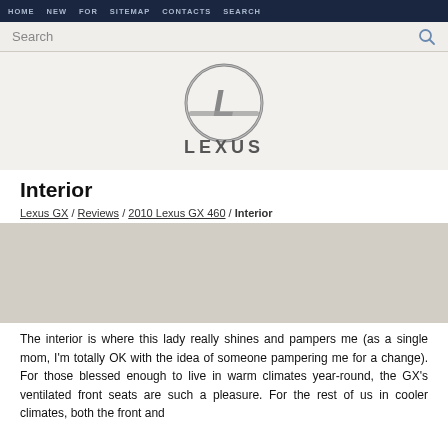HOME  NEW  FOR  SITEMAP  CONTACTS  SEARCH
Search
[Figure (logo): Lexus logo — stylized L emblem above LEXUS wordmark in silver/grey]
Interior
Lexus GX / Reviews / 2010 Lexus GX 460 / Interior
The interior is where this lady really shines and pampers me (as a single mom, I'm totally OK with the idea of someone pampering me for a change). For those blessed enough to live in warm climates year-round, the GX's ventilated front seats are such a pleasure. For the rest of us in cooler climates, both the front and